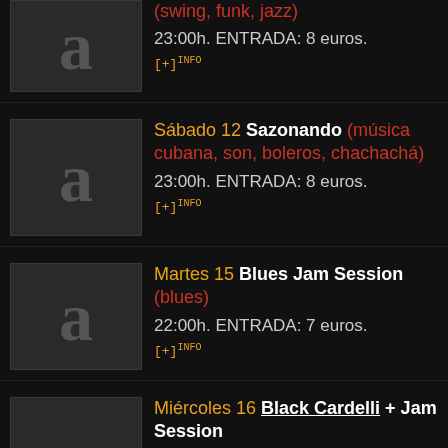(swing, funk, jazz) 23:00h. ENTRADA: 8 euros. [+]INFO
Sábado 12 Sazonando (música cubana, son, boleros, chachachá) 23:00h. ENTRADA: 8 euros. [+]INFO
Martes 15 Blues Jam Session (blues) 22:00h. ENTRADA: 7 euros. [+]INFO
Miércoles 16 Black Cardelli + Jam Session (jazz, funk, hip hop) 22:00h. ENTRADA: 6 euros. [+]INFO
Jueves 17 Tandam (blues & reggae)